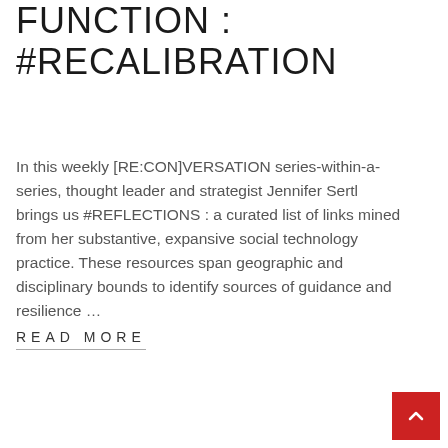FUNCTION : #RECALIBRATION
In this weekly [RE:CON]VERSATION series-within-a-series, thought leader and strategist Jennifer Sertl brings us #REFLECTIONS : a curated list of links mined from her substantive, expansive social technology practice. These resources span geographic and disciplinary bounds to identify sources of guidance and resilience …
READ MORE